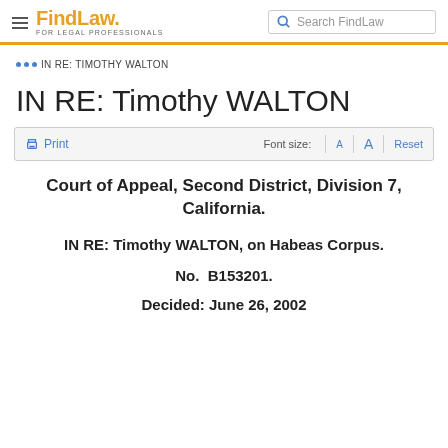FindLaw FOR LEGAL PROFESSIONALS | Search FindLaw
... IN RE: TIMOTHY WALTON
IN RE: Timothy WALTON
Print | Font size: A A Reset
Court of Appeal, Second District, Division 7, California.
IN RE: Timothy WALTON, on Habeas Corpus.
No.  B153201.
Decided: June 26, 2002